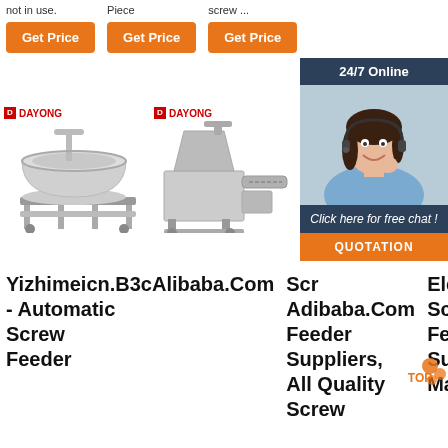not in use.
Piece
screw ...
Get Price
Get Price
Get Price
[Figure (photo): DAYONG branded industrial sieve/separator machine on wheeled stand]
[Figure (photo): DAYONG branded industrial food processing screw feeder machine]
[Figure (photo): Customer service agent woman with headset smiling - 24/7 Online chat widget]
24/7 Online
Click here for free chat !
QUOTATION
Yizhimeicn.B3cAlibaba.Com
- Automatic Screw Feeder
Scr Adibaba.Com
Feeder Suppliers, All Quality Screw
Electric Screw Feeder Suppliers, Manufactu...